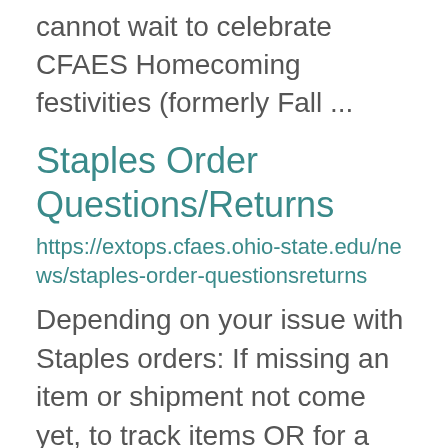cannot wait to celebrate CFAES Homecoming festivities (formerly Fall ...
Staples Order Questions/Returns
https://extops.cfaes.ohio-state.edu/news/staples-order-questionsreturns
Depending on your issue with Staples orders: If missing an item or shipment not come yet, to track items OR for a RETURN: Please send an email to Support_EA@staples.com or call 800-557-6268. That is your dedicated support team. They will need to know you ...
Make It Take It